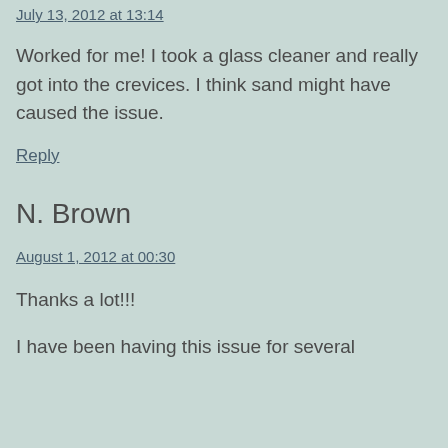July 13, 2012 at 13:14
Worked for me! I took a glass cleaner and really got into the crevices. I think sand might have caused the issue.
Reply
N. Brown
August 1, 2012 at 00:30
Thanks a lot!!!
I have been having this issue for several